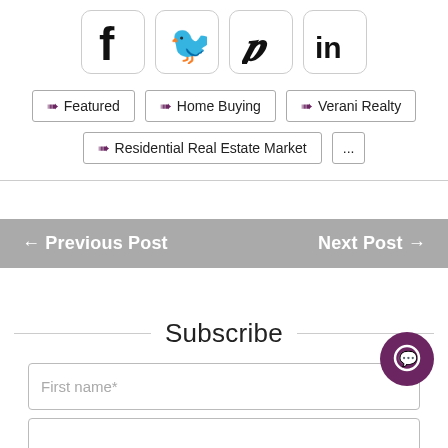[Figure (other): Social media share icons: Facebook (f), Twitter (bird), Pinterest (P), LinkedIn (in), each in rounded square borders]
Featured
Home Buying
Verani Realty
Residential Real Estate Market
...
← Previous Post
Next Post →
Subscribe
First name*